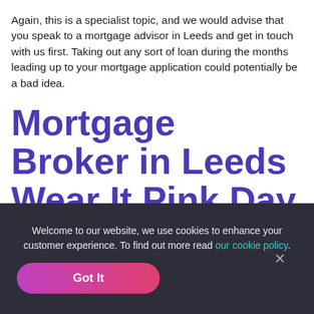Again, this is a specialist topic, and we would advise that you speak to a mortgage advisor in Leeds and get in touch with us first. Taking out any sort of loan during the months leading up to your mortgage application could potentially be a bad idea.
Mortgage Broker in Leeds Wear It Pink Day 2019
Welcome to our website, we use cookies to enhance your customer experience. To find out more read our cookie policy.